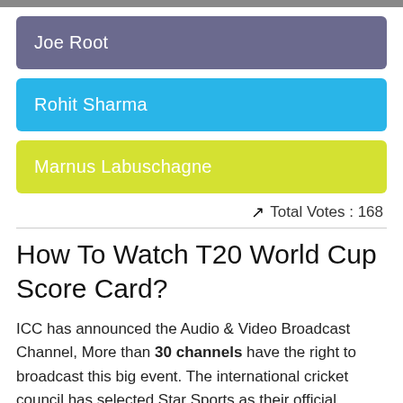Joe Root
Rohit Sharma
Marnus Labuschagne
Total Votes : 168
How To Watch T20 World Cup Score Card?
ICC has announced the Audio & Video Broadcast Channel, More than 30 channels have the right to broadcast this big event. The international cricket council has selected Star Sports as their official